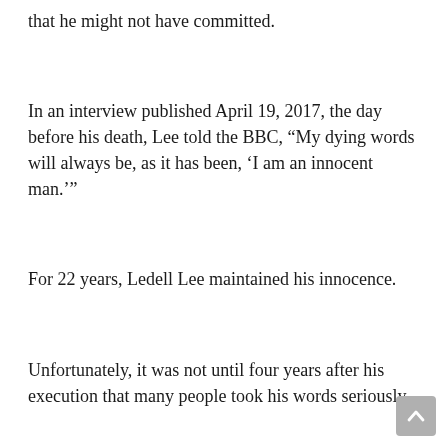that he might not have committed.
In an interview published April 19, 2017, the day before his death, Lee told the BBC, “My dying words will always be, as it has been, ‘I am an innocent man.’”
For 22 years, Ledell Lee maintained his innocence.
Unfortunately, it was not until four years after his execution that many people took his words seriously.
The New York Times reported, “Four years later, lawyers affiliated with the Innocence Project and the American Civil Liberties Union say DNA testing has revealed that genetic material on the murder weapon—which was never previously tested—in fact belongs to another man. In a highly unusual